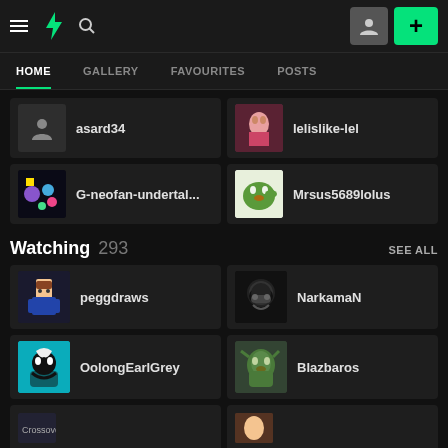DeviantArt navigation bar with hamburger menu, DA logo, search icon, user button, and plus button
HOME | GALLERY | FAVOURITES | POSTS
asard34
lelislike-lel
G-neofan-undertal...
Mrsus5689lolus
Watching 293 SEE ALL
peggdraws
NarkamaN
OolongEarlGrey
Blazbaros